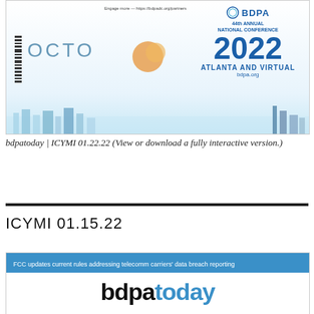[Figure (illustration): BDPA 44th Annual National Conference 2022 Atlanta and Virtual promotional image featuring OCTO logo and city skyline]
bdpatoday | ICYMI 01.22.22 (View or download a fully interactive version.)
ICYMI 01.15.22
[Figure (illustration): bdpatoday newsletter header with FCC updates banner: FCC updates current rules addressing telecomm carriers' data breach reporting]